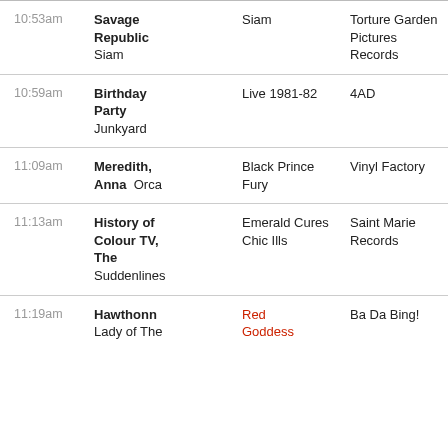| Time | Artist / Song | Album | Label |
| --- | --- | --- | --- |
| 10:53am | Savage Republic
Siam | Siam | Torture Garden Pictures Records |
| 10:59am | Birthday Party
Junkyard | Live 1981-82 | 4AD |
| 11:09am | Meredith, Anna  Orca | Black Prince Fury | Vinyl Factory |
| 11:13am | History of Colour TV, The
Suddenlines | Emerald Cures Chic Ills | Saint Marie Records |
| 11:19am | Hawthonn
Lady of The | Red Goddess | Ba Da Bing! |